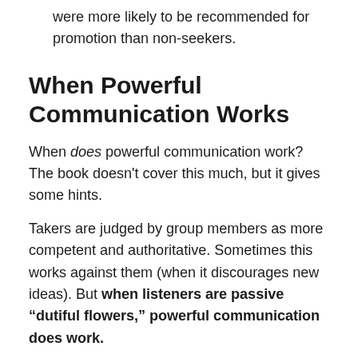were more likely to be recommended for promotion than non-seekers.
When Powerful Communication Works
When does powerful communication work? The book doesn't cover this much, but it gives some hints.
Takers are judged by group members as more competent and authoritative. Sometimes this works against them (when it discourages new ideas). But when listeners are passive “dutiful flowers,” powerful communication does work.
(Shortform note: We see powerful communication work in Steve Jobs and TED talks. Does it work when the listener knows she’s in a subordinate and receptive position, so ego is not at play? When listening to Steve Jobs, an Apple fan already considers